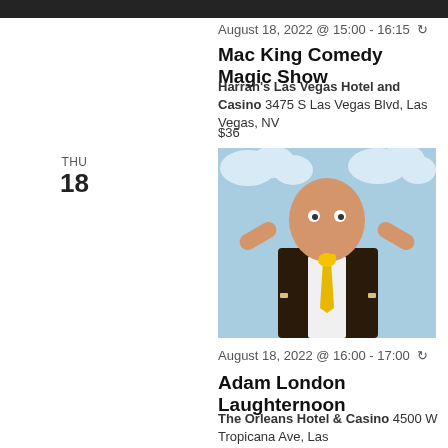[Figure (photo): Top portion of a show image, partially cropped, dark background]
August 18, 2022 @ 15:00 - 16:15 ↺
Mac King Comedy Magic Show
Harrah's Las Vegas Hotel and Casino 3475 S Las Vegas Blvd, Las Vegas, NV
$36
THU
18
[Figure (photo): Adam London comedian promotional photo: bald man in pinstripe suit with yellow tie, holding hands up in surprise, rubber duck in his mouth, blue sky and clouds background]
August 18, 2022 @ 16:00 - 17:00 ↺
Adam London Laughternoon
The Orleans Hotel & Casino 4500 W Tropicana Ave, Las